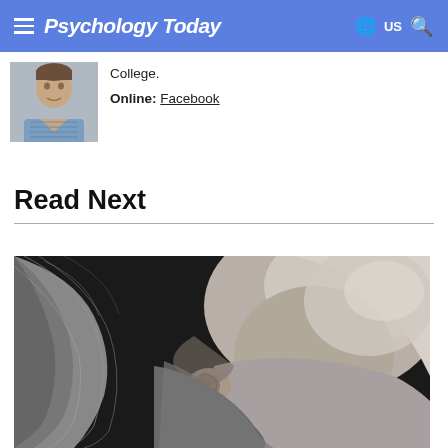Psychology Today
College.
Online: Facebook
Read Next
[Figure (photo): Black and white close-up photo of a person (likely a woman) with long hair, tilting their head, showing neck and ear with hair detail]